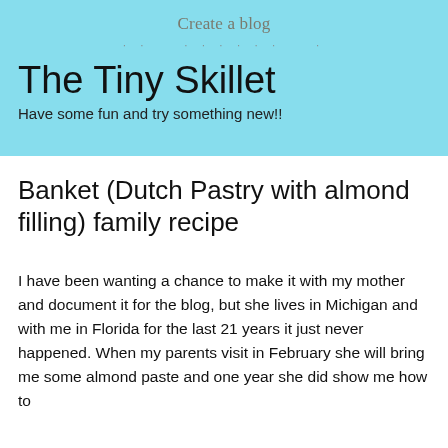Create a blog
The Tiny Skillet
Have some fun and try something new!!
Banket (Dutch Pastry with almond filling) family recipe
I have been wanting a chance to make it with my mother and document it for the blog, but she lives in Michigan and with me in Florida for the last 21 years it just never happened. When my parents visit in February she will bring me some almond paste and one year she did show me how to